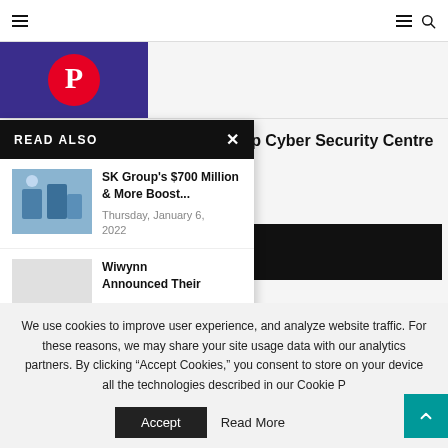Navigation bar with hamburger menu and search icon
[Figure (screenshot): Partial image at top left with dark purple/blue background and Pinterest logo]
ets Up Cyber Security Centre
2021
[Figure (other): Black rectangle placeholder image]
READ ALSO
[Figure (screenshot): Article thumbnail for SK Group story]
SK Group's $700 Million & More Boost...
Thursday, January 6, 2022
[Figure (screenshot): Article thumbnail for Wiwynn story]
Wiwynn Announced Their
We use cookies to improve user experience, and analyze website traffic. For these reasons, we may share your site usage data with our analytics partners. By clicking “Accept Cookies,” you consent to store on your device all the technologies described in our Cookie P
Accept
Read More